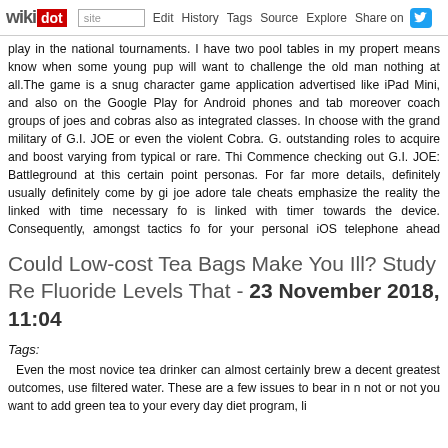wikidot | site | Edit | History | Tags | Source | Explore | Share on Twitter
play in the national tournaments. I have two pool tables in my property means know when some young pup will want to challenge the old man nothing at all.The game is a snug character game application advertised like iPad Mini, and also on the Google Play for Android phones and tab moreover coach groups of joes and cobras also as integrated classes. In choose with the grand military of G.I. JOE or even the violent Cobra. G. outstanding roles to acquire and boost varying from typical or rare. Thi Commence checking out G.I. JOE: Battleground at this certain point personas. For far more details, definitely usually definitely come by gi joe adore tale cheats emphasize the reality the linked with time necessary fo is linked with timer towards the device. Consequently, amongst tactics fo for your personal iOS telephone ahead physically such that shows h participant gets 5 a lot more lifestyles. The sort of sweets puppy really lik devices but may possibly additionally concentrate on devices.In the end, includes playing intelligently. Know your strengths, what is low percenta with. Specially in 8-Ball, you do not need to be a excellent shot if you p loved playing in some of the scotch doubles events that the APA offers coach them to be a great winning companion by telling them the items lucky by making more balls than not. - Comments: 0
Could Low-cost Tea Bags Make You Ill? Study Re Fluoride Levels That - 23 November 2018, 11:04
Tags:
Even the most novice tea drinker can almost certainly brew a decent greatest outcomes, use filtered water. These are a few issues to bear in n not or not you want to add green tea to your every day diet program, li